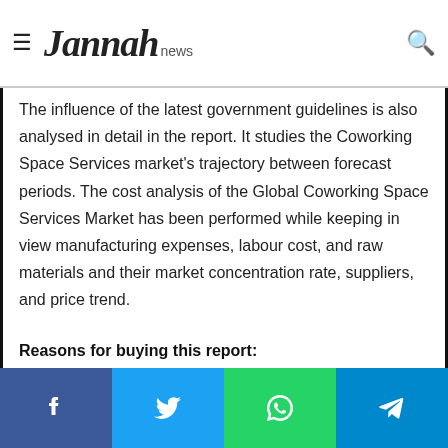Jannah news
The influence of the latest government guidelines is also analysed in detail in the report. It studies the Coworking Space Services market's trajectory between forecast periods. The cost analysis of the Global Coworking Space Services Market has been performed while keeping in view manufacturing expenses, labour cost, and raw materials and their market concentration rate, suppliers, and price trend.
Reasons for buying this report:
It offers an analysis of changing competitive